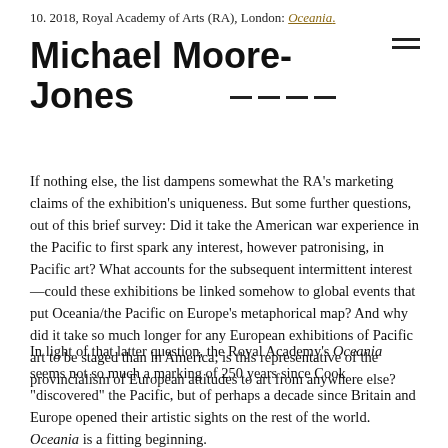10. 2018, Royal Academy of Arts (RA), London: Oceania.
Michael Moore-Jones
If nothing else, the list dampens somewhat the RA's marketing claims of the exhibition's uniqueness. But some further questions, out of this brief survey: Did it take the American war experience in the Pacific to first spark any interest, however patronising, in Pacific art? What accounts for the subsequent intermittent interest—could these exhibitions be linked somehow to global events that put Oceania/the Pacific on Europe's metaphorical map? And why did it take so much longer for any European exhibitions of Pacific art to be staged than in America; is this representative of the provincialism of European attitudes to art from anywhere else?
In light of that latter question, the Royal Academy's Oceania seems not so much a marking of 250 years since Cook "discovered" the Pacific, but of perhaps a decade since Britain and Europe opened their artistic sights on the rest of the world. Oceania is a fitting beginning.